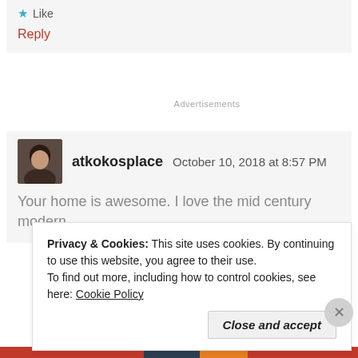★ Like
Reply
Advertisements
atkokosplace   October 10, 2018 at 8:57 PM
Your home is awesome. I love the mid century modern
Privacy & Cookies: This site uses cookies. By continuing to use this website, you agree to their use.
To find out more, including how to control cookies, see here: Cookie Policy
Close and accept